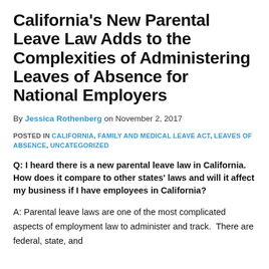California's New Parental Leave Law Adds to the Complexities of Administering Leaves of Absence for National Employers
By Jessica Rothenberg on November 2, 2017
POSTED IN CALIFORNIA, FAMILY AND MEDICAL LEAVE ACT, LEAVES OF ABSENCE, UNCATEGORIZED
Q: I heard there is a new parental leave law in California.  How does it compare to other states' laws and will it affect my business if I have employees in California?
A: Parental leave laws are one of the most complicated aspects of employment law to administer and track.  There are federal, state, and